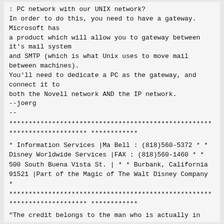: PC network with our UNIX network?
In order to do this, you need to have a gateway. Microsoft has
a product which will allow you to gateway between it's mail system
and SMTP (which is what Unix uses to move mail between machines).
You'll need to dedicate a PC as the gateway, and connect it to
both the Novell network AND the IP network.
--joerg
--
************************************************************************
************
* Information Services      |Ma Bell : (818)560-5372                   *
* Disney Worldwide Services |FAX      : (818)560-1460                   *
* 500 South Buena Vista St. |                         *
* Burbank, California 91521 |Part of the Magic of The Walt Disney Company
*
************************************************************************
************
"The credit belongs to the man who is actually in the arena.  Whose
face is marred by dust, sweat and *: who knows the enthusiasm, the great
devotion, and spends himself in a worthy cause.  Who at best if he wins
knows the thrill of high achievement and if he fails at least fails while
daring greatly so that his place shall never be with those cold and timid
souls, who know neither victory nor defeat."
                                -JFK